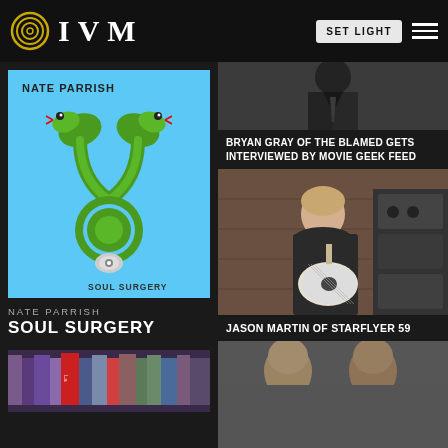IVM
[Figure (illustration): Nate Parrish - Soul Surgery album cover: two green snakes forming a stethoscope shape on a blue background]
NATE PARRISH
SOUL SURGERY
[Figure (photo): Black and white photo of a man in a suit, partially visible]
BRYAN GRAY OF THE BLAMED GETS INTERVIEWED BY MOVIE GEEK FEED
[Figure (photo): Photo of Jason Martin of Starflyer 59 playing guitar in a studio setting]
JASON MARTIN OF STARFLYER 59
[Figure (photo): Photo of books on a shelf, with a red book visible]
[Figure (photo): Partial photo of people at the bottom of the page]